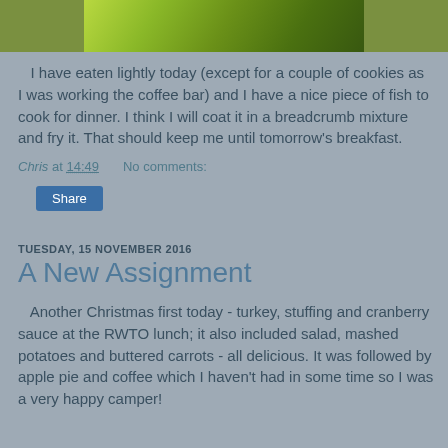[Figure (photo): Partial view of green leaves/plant from above, cropped at top of page]
I have eaten lightly today (except for a couple of cookies as I was working the coffee bar) and I have a nice piece of fish to cook for dinner. I think I will coat it in a breadcrumb mixture and fry it. That should keep me until tomorrow's breakfast.
Chris at 14:49    No comments:
Share
TUESDAY, 15 NOVEMBER 2016
A New Assignment
Another Christmas first today - turkey, stuffing and cranberry sauce at the RWTO lunch; it also included salad, mashed potatoes and buttered carrots - all delicious. It was followed by apple pie and coffee which I haven't had in some time so I was a very happy camper!